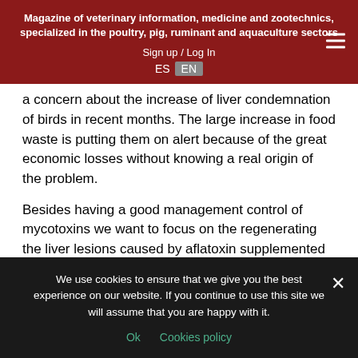Magazine of veterinary information, medicine and zootechnics, specialized in the poultry, pig, ruminant and aquaculture sectors
Sign up / Log In
ES EN
a concern about the increase of liver condemnation of birds in recent months. The large increase in food waste is putting them on alert because of the great economic losses without knowing a real origin of the problem.
Besides having a good management control of mycotoxins we want to focus on the regenerating the liver lesions caused by aflatoxin supplemented with Biovet Labarotorios, called Alquernat Livol acting as hepatic regenerator. From many tests conducted by manufacturer
We use cookies to ensure that we give you the best experience on our website. If you continue to use this site we will assume that you are happy with it.
Ok   Cookies policy